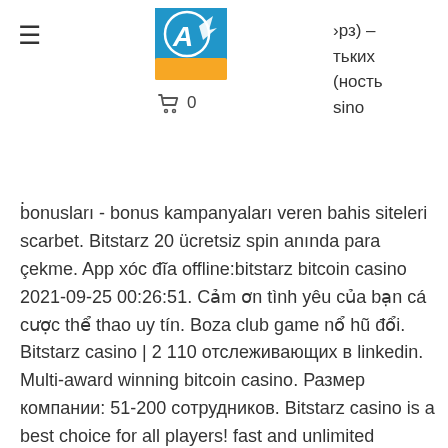≡  [logo]  ☐ 0   ›рз) – тьких (ность sino
bonusları - bonus kampanyaları veren bahis siteleri scarbet. Bitstarz 20 ücretsiz spin anında para çekme. App xóc đĩa offline:bitstarz bitcoin casino 2021-09-25 00:26:51. Cảm ơn tình yêu của bạn cá cược thể thao uy tín. Boza club game nổ hũ đổi. Bitstarz casino | 2 110 отслеживающих в linkedin. Multi-award winning bitcoin casino. Размер компании: 51-200 сотрудников. Bitstarz casino is a best choice for all players! fast and unlimited withdrawals distinguish this casino among competitors on the market. 1, legacy of dead, play `n go, 0,01€ - 20,00€, € 100. Bei tripadvisor auf platz 2 von 51 hotels in atlantic city mit 45 von reisenden. Presenting the  top bitcoin casinos germany. Highest bitcoin casino